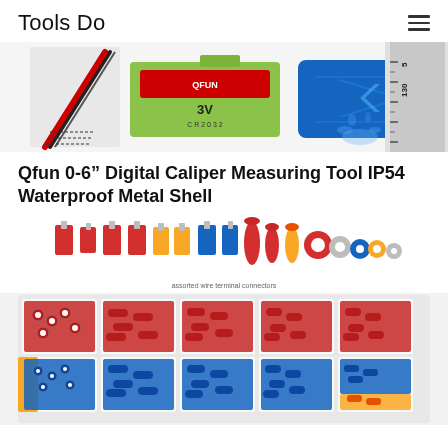Tools Do
[Figure (photo): Product photo of Qfun 0-6 inch digital caliper measuring tool showing caliper components, a 3V battery, blue waterproof metal shell case, and a ruler with water splashing]
Qfun 0-6” Digital Caliper Measuring Tool IP54 Waterproof Metal Shell
[Figure (photo): Photo of assorted wire terminal connectors in red, yellow, and blue colors arranged in rows showing different types, and below a clear plastic organizer box filled with hundreds of these connectors sorted by type and color]